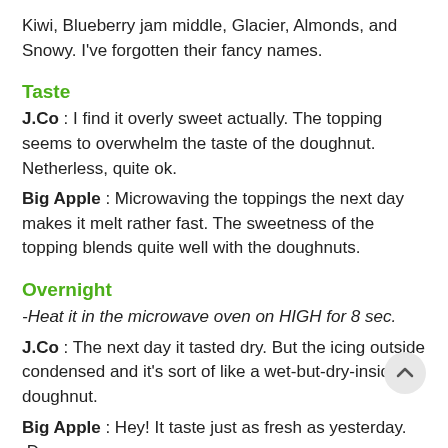Kiwi, Blueberry jam middle, Glacier, Almonds, and Snowy. I've forgotten their fancy names.
Taste
J.Co : I find it overly sweet actually. The topping seems to overwhelm the taste of the doughnut. Netherless, quite ok.
Big Apple : Microwaving the toppings the next day makes it melt rather fast. The sweetness of the topping blends quite well with the doughnuts.
Overnight
-Heat it in the microwave oven on HIGH for 8 sec.
J.Co : The next day it tasted dry. But the icing outside condensed and it's sort of like a wet-but-dry-inside doughnut.
Big Apple : Hey! It taste just as fresh as yesterday. :D
note- It'll always taste better the day you bought it.